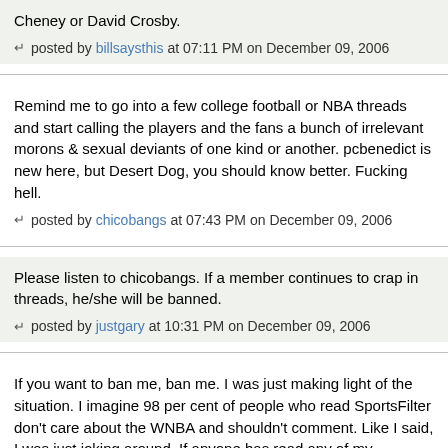Cheney or David Crosby.
posted by billsaysthis at 07:11 PM on December 09, 2006
Remind me to go into a few college football or NBA threads and start calling the players and the fans a bunch of irrelevant morons & sexual deviants of one kind or another. pcbenedict is new here, but Desert Dog, you should know better. Fucking hell.
posted by chicobangs at 07:43 PM on December 09, 2006
Please listen to chicobangs. If a member continues to crap in threads, he/she will be banned.
posted by justgary at 10:31 PM on December 09, 2006
If you want to ban me, ban me. I was just making light of the situation. I imagine 98 per cent of people who read SportsFilter don't care about the WNBA and shouldn't comment. Like I said, I was just joking around. If anyone has read any of my comments on anything, they'll realize I like to take a humorous approach to most things. If I pissed anybody off, tough shit, I was fucking around. Chico, your'e one of the first people on this site to light into me. I respect your opinion. You should have a feeling by now that I just like to stir the pot once in awhile and don't mean to run over anybody's puppy. So if anyone thinks I should be banned, ban me. It seems everyone